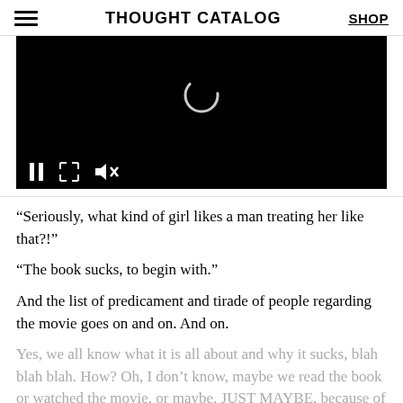THOUGHT CATALOG | SHOP
[Figure (screenshot): Embedded video player with black background, loading spinner in center, and playback controls (pause, fullscreen, mute) at bottom left]
“Seriously, what kind of girl likes a man treating her like that?!”
“The book sucks, to begin with.”
And the list of predicament and tirade of people regarding the movie goes on and on. And on.
Yes, we all know what it is all about and why it sucks, blah blah blah. How? Oh, I don’t know, maybe we read the book or watched the movie, or maybe, JUST MAYBE, because of